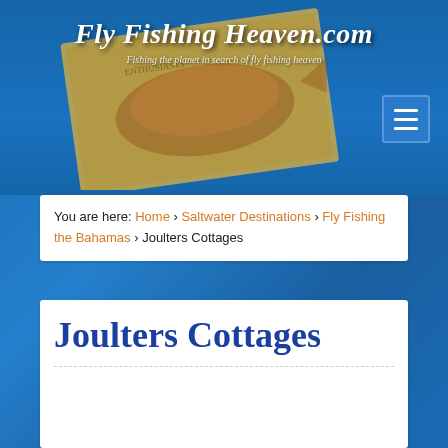Fly Fishing Heaven.com — Fishing the planet in search of fly fishing heaven
[Figure (illustration): Diamond-shaped vintage fishing sign graphic with trout/salmon fish image and text in background]
You are here: Home › Saltwater Destinations › Fly Fishing the Bahamas › Joulters Cottages
Joulters Cottages